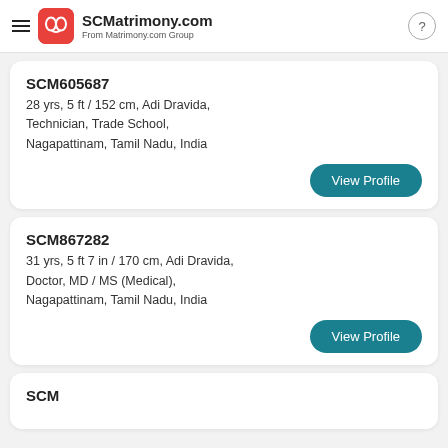SCMatrimony.com — From Matrimony.com Group
SCM605687
28 yrs, 5 ft / 152 cm, Adi Dravida, Technician, Trade School, Nagapattinam, Tamil Nadu, India
View Profile
SCM867282
31 yrs, 5 ft 7 in / 170 cm, Adi Dravida, Doctor, MD / MS (Medical), Nagapattinam, Tamil Nadu, India
View Profile
SCM